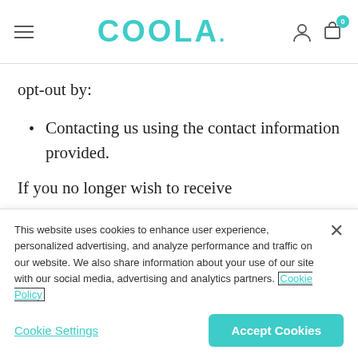COOLA. [navigation header with hamburger menu, logo, user icon, cart icon with badge 0]
opt-out by:
Contacting us using the contact information provided.
If you no longer wish to receive correspondence, emails, or other communications from third parties
This website uses cookies to enhance user experience, personalized advertising, and analyze performance and traffic on our website. We also share information about your use of our site with our social media, advertising and analytics partners. Cookie Policy
Cookie Settings | Accept Cookies